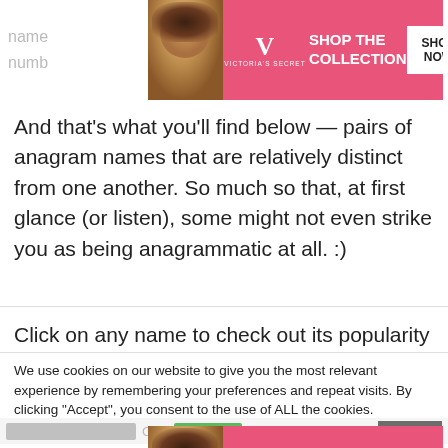name
numb
[Figure (screenshot): Victoria's Secret advertisement banner — pink background, model with curly hair, VS logo, 'SHOP THE COLLECTION' text, 'SHOP NOW' button]
And that’s what you’ll find below — pairs of anagram names that are relatively distinct from one another. So much so that, at first glance (or listen), some might not even strike you as being anagrammatic at all. :)
Click on any name to check out its popularity graph...
We use cookies on our website to give you the most relevant experience by remembering your preferences and repeat visits. By clicking “Accept”, you consent to the use of ALL the cookies.
Do not sell my personal information.
[Figure (screenshot): Victoria's Secret advertisement banner (bottom) — pink background, model with curly hair, VS logo, 'SHOP THE COLLECTION' text, 'SHOP NOW' button]